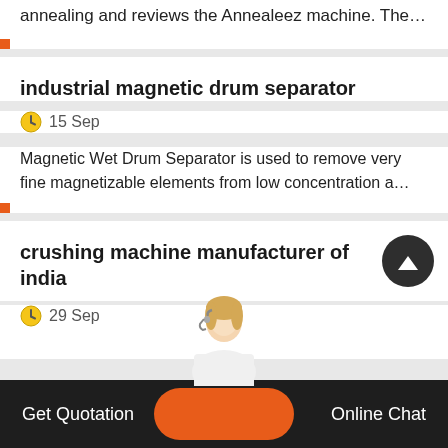The popular Annealeez.com website discusses annealing and reviews the Annealeez machine. The…
industrial magnetic drum separator
15 Sep
Magnetic Wet Drum Separator is used to remove very fine magnetizable elements from low concentration a…
crushing machine manufacturer of india
29 Sep
Get Quotation   Online Chat